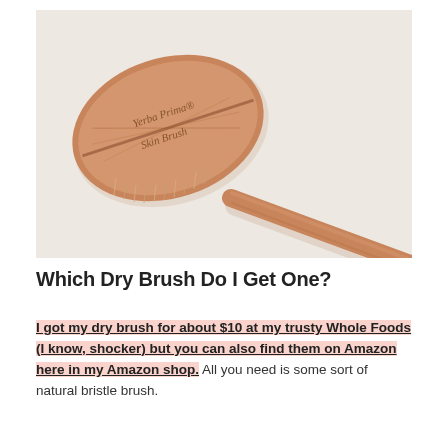[Figure (photo): Overhead photo of a Yerba Prima Skin Brush — a wooden oval-headed dry brush with natural bristles and a long wooden handle, resting on a white background. The brush head has engraved text reading 'Yerba Prima® Skin Brush'.]
Which Dry Brush Do I Get One?
I got my dry brush for about $10 at my trusty Whole Foods (I know, shocker) but you can also find them on Amazon here in my Amazon shop. All you need is some sort of natural bristle brush.